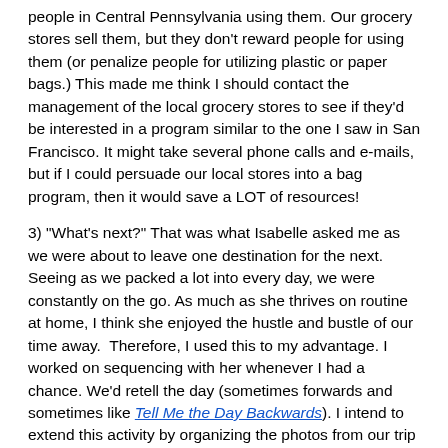people in Central Pennsylvania using them. Our grocery stores sell them, but they don't reward people for using them (or penalize people for utilizing plastic or paper bags.) This made me think I should contact the management of the local grocery stores to see if they'd be interested in a program similar to the one I saw in San Francisco. It might take several phone calls and e-mails, but if I could persuade our local stores into a bag program, then it would save a LOT of resources!
3) "What's next?" That was what Isabelle asked me as we were about to leave one destination for the next.  Seeing as we packed a lot into every day, we were constantly on the go. As much as she thrives on routine at home, I think she enjoyed the hustle and bustle of our time away.  Therefore, I used this to my advantage. I worked on sequencing with her whenever I had a chance. We'd retell the day (sometimes forwards and sometimes like Tell Me the Day Backwards). I intend to extend this activity by organizing the photos from our trip so we can talk about the order in which things happened by using sequencing words and transitional phrases.